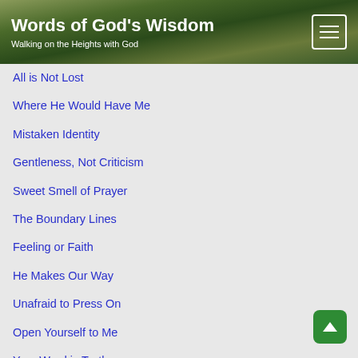Words of God's Wisdom
Walking on the Heights with God
All is Not Lost
Where He Would Have Me
Mistaken Identity
Gentleness, Not Criticism
Sweet Smell of Prayer
The Boundary Lines
Feeling or Faith
He Makes Our Way
Unafraid to Press On
Open Yourself to Me
Your Word is Truth
Bitterness to Compassion
The Higher Places